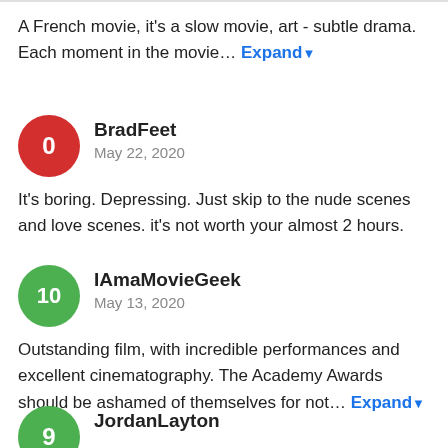A French movie, it's a slow movie, art - subtle drama. Each moment in the movie… Expand
BradFeet
May 22, 2020
It's boring. Depressing. Just skip to the nude scenes and love scenes. it's not worth your almost 2 hours.
IAmaMovieGeek
May 13, 2020
Outstanding film, with incredible performances and excellent cinematography. The Academy Awards should be ashamed of themselves for not… Expand
JordanLayton